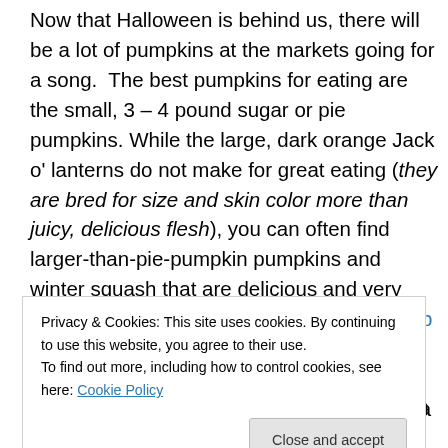Now that Halloween is behind us, there will be a lot of pumpkins at the markets going for a song.  The best pumpkins for eating are the small, 3 – 4 pound sugar or pie pumpkins. While the large, dark orange Jack o' lanterns do not make for great eating (they are bred for size and skin color more than juicy, delicious flesh), you can often find larger-than-pie-pumpkin pumpkins and winter squash that are delicious and very economical. I cracked open a 20-lb Hubbarb squash (grown at Fishkill Farms) yesterday and yielded a gallon bag of squash chunks (for freezing), nearly 2 quarts of purée and a quart
Privacy & Cookies: This site uses cookies. By continuing to use this website, you agree to their use.
To find out more, including how to control cookies, see here: Cookie Policy
canned pumpkin pack is actually made from a variety of